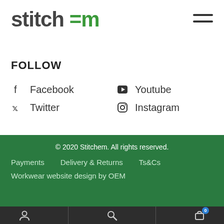[Figure (logo): Stitchem logo — 'stitch' in dark grey, '=m' in green, bold sans-serif]
FOLLOW
Facebook
Twitter
Youtube
Instagram
© 2020 Stitchem. All rights reserved.   Payments   Delivery & Returns   Ts&Cs   Workwear website design by OEM